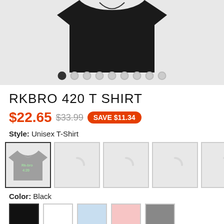[Figure (photo): Product image of a black t-shirt with 'Rk-bro 4:20' text, shown partially cropped at top. Below are carousel dot navigation indicators.]
RKBRO 420 T SHIRT
$22.65  $33.99  SAVE $11.34
Style: Unisex T-Shirt
[Figure (photo): Color variant thumbnails: first shows black t-shirt with Rk-bro 4:20 design (selected), followed by 4 grey loading placeholder boxes]
Color: Black
[Figure (other): Color swatches: Black (selected), White, Light Blue, Pink, Grey]
Size:  Size Guide